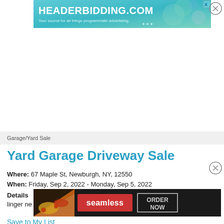[Figure (screenshot): HeaderBidding.com advertisement banner: teal/turquoise gradient background with white bold text 'HEADERBIDDING.COM' and subtext 'Your source for all things programmatic advertising.' with decorative circular graphics on the right.]
Garage/Yard Sale
Yard Garage Driveway Sale
Where: 67 Maple St, Newburgh, NY, 12550
When: Friday, Sep 2, 2022 - Monday, Sep 5, 2022
Details: [obscured by ad] ms no linger ne[obscured]
[Figure (screenshot): Seamless food ordering advertisement: dark background with pizza image on left, red 'seamless' button in center, and 'ORDER NOW' button with white border on right.]
Save to My List